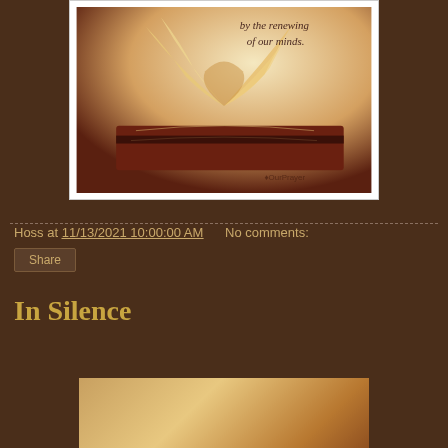[Figure (photo): A book with pages folded into a heart shape, warm golden tones, with cursive text reading 'by the renewing of our minds.' and a watermark 'OurPrayer' at bottom right.]
Hoss at 11/13/2021 10:00:00 AM    No comments:
Share
In Silence
[Figure (photo): Partial view of a second image with warm golden/amber tones at the bottom of the page.]